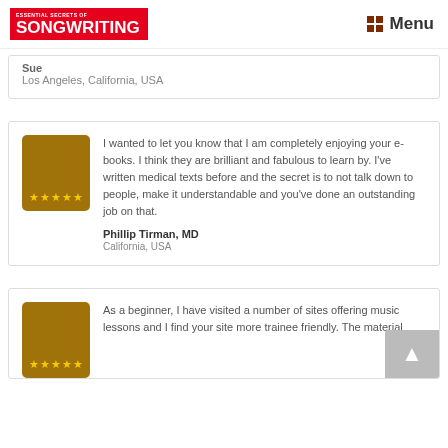ESSENTIAL SECRETS of SONGWRITING | Menu
Sue
Los Angeles, California, USA
I wanted to let you know that I am completely enjoying your e-books. I think they are brilliant and fabulous to learn by. I’ve written medical texts before and the secret is to not talk down to people, make it understandable and you’ve done an outstanding job on that.
Phillip Tirman, MD
California, USA
As a beginner, I have visited a number of sites offering music lessons and I find your site more trainee friendly. The material